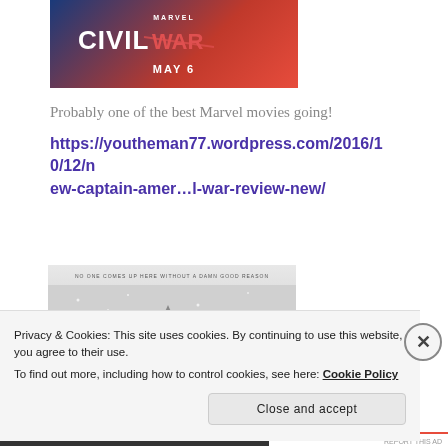[Figure (photo): Captain America: Civil War movie poster — Marvel logo at top, 'CIVIL WAR' text in large white/red letters, 'MAY 6' below, red white and blue shield design background]
Probably one of the best Marvel movies going!
https://youtheman77.wordpress.com/2016/10/12/new-captain-amer…l-war-review-new/
[Figure (photo): Black and white winter scene movie poster with tagline 'NO ONE COMES UP HERE WITHOUT A DAMN GOOD REASON', showing snowy landscape with figure silhouette]
Privacy & Cookies: This site uses cookies. By continuing to use this website, you agree to their use.
To find out more, including how to control cookies, see here: Cookie Policy
Close and accept